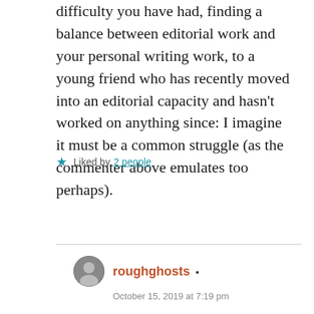difficulty you have had, finding a balance between editorial work and your personal writing work, to a young friend who has recently moved into an editorial capacity and hasn't worked on anything since: I imagine it must be a common struggle (as the commenter above emulates too perhaps).
★ Liked by 2 people
Reply
roughghosts ▪
October 15, 2019 at 7:19 pm
Thanks, Marcie. The balance is very difficult to find and it has become worse. You will be happy